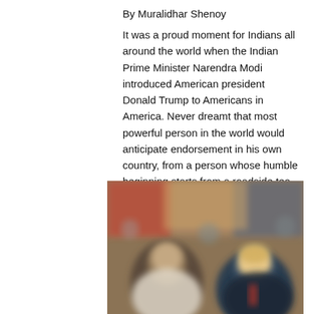By Muralidhar Shenoy
It was a proud moment for Indians all around the world when the Indian Prime Minister Narendra Modi introduced American president Donald Trump to Americans in America. Never dreamt that most powerful person in the world would anticipate endorsement in his own country, from a person whose humble beginning starts from a roadside tea stall in a remote place in Gujrat, India. That is the story of Narendra Modi
[Figure (photo): Blurred crowd photograph showing two individuals in the foreground, appearing to be at a public event]